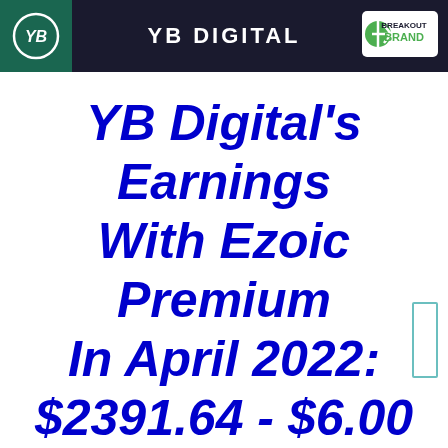YB DIGITAL
YB Digital's Earnings With Ezoic Premium In April 2022: $2391.64 - $6.00